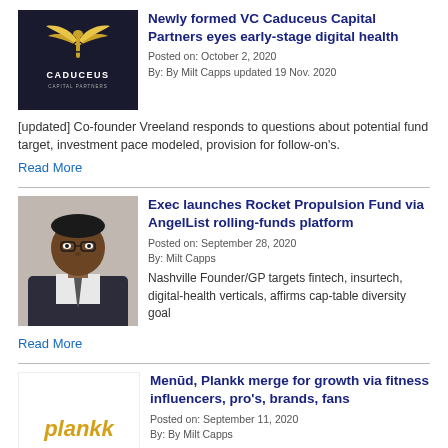[Figure (logo): Caduceus Capital Partners logo - dark background with gold wing emblem]
Newly formed VC Caduceus Capital Partners eyes early-stage digital health
Posted on: October 2, 2020
By: By Milt Capps updated 19 Nov. 2020
[updated] Co-founder Vreeland responds to questions about potential fund target, investment pace modeled, provision for follow-on's.
Read More
[Figure (photo): Professional headshot of African American man wearing glasses and suit]
Exec launches Rocket Propulsion Fund via AngelList rolling-funds platform
Posted on: September 28, 2020
By: Milt Capps
Nashville Founder/GP targets fintech, insurtech, digital-health verticals, affirms cap-table diversity goal
Read More
[Figure (logo): Plankk logo in gold/yellow italic text on white background]
Menūd, Plankk merge for growth via fitness influencers, pro's, brands, fans
Posted on: September 11, 2020
By: By Milt Capps